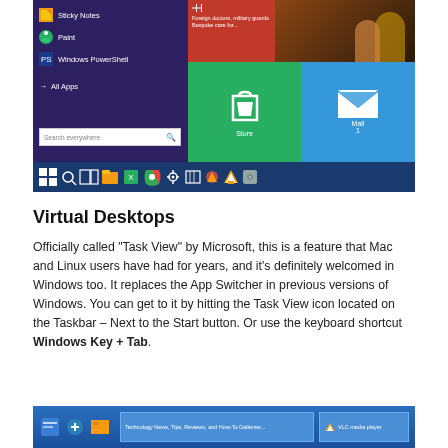[Figure (screenshot): Windows 10 Start Menu screenshot showing app list with Sticky Notes, Paint, Windows PowerShell, All Apps options on the left side, and tiles including a news tile, Store tile, and Mail tile on the right. A Windows taskbar is visible at the bottom with various application icons.]
Virtual Desktops
Officially called “Task View” by Microsoft, this is a feature that Mac and Linux users have had for years, and it’s definitely welcomed in Windows too. It replaces the App Switcher in previous versions of Windows. You can get to it by hitting the Task View icon located on the Taskbar – Next to the Start button. Or use the keyboard shortcut Windows Key + Tab.
[Figure (screenshot): Windows 10 Task View / taskbar screenshot showing open windows including a technology news website and VLC media player.]